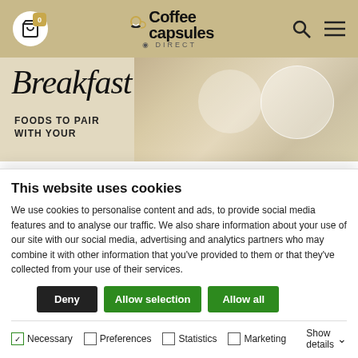Coffee Capsules Direct — site header with cart, logo, search, menu
[Figure (photo): Breakfast foods banner image with script text 'Breakfast' and 'FOODS TO PAIR WITH YOUR' overlaid on waffles and berries photo]
Breakfasts that pairs best with Coffee
Au
Subscribe to our newsletter to get our
This website uses cookies
We use cookies to personalise content and ads, to provide social media features and to analyse our traffic. We also share information about your use of our site with our social media, advertising and analytics partners who may combine it with other information that you've provided to them or that they've collected from your use of their services.
Deny | Allow selection | Allow all
✓ Necessary   Preferences   Statistics   Marketing   Show details